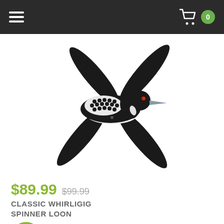Navigation bar with hamburger menu and cart icon showing 0 items
[Figure (photo): A Classic Whirligig Spinner Loon decorative garden ornament — a painted wooden loon bird with black and white checkered body pattern, red eye, grey bill, and four black spinning wing blades arranged in an X pattern]
$89.99  $99.99
CLASSIC WHIRLIGIG SPINNER LOON
ADD TO CART